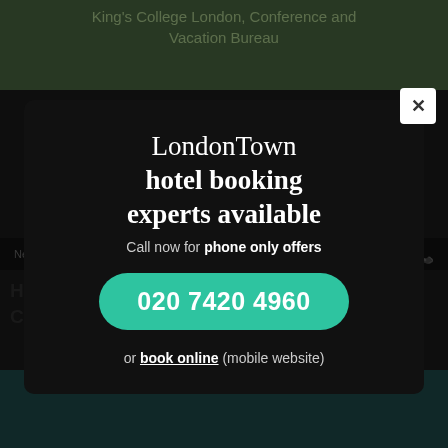King's College London, Conference and Vacation Bureau
Need help? Call
HotelMap for King's College London, Conference and Vacation Bureau
[Figure (screenshot): A modal dialog popup on a hotel booking website. LondonTown hotel booking experts available. Call now for phone only offers. Phone number: 020 7420 4960. Or book online (mobile website). Close button (×) in top right corner.]
LondonTown hotel booking experts available
Call now for phone only offers
020 7420 4960
or book online (mobile website)